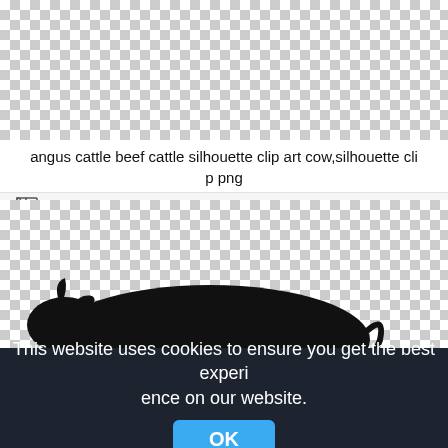[Figure (illustration): Transparent checkered background (top image area)]
angus cattle beef cattle silhouette clip art cow,silhouette clip png
2400x1316px
[Figure (illustration): Black silhouette of an angus/beef cattle cow on a transparent checkered background]
This website uses cookies to ensure you get the best experience on our website.